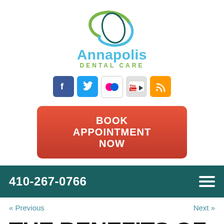[Figure (logo): Annapolis Dental Care logo with green and blue oval swoosh graphic, 'Annapolis' in blue text, 'DENTAL CARE' in green text below]
[Figure (infographic): Row of five social media icons: Facebook (blue), Twitter (light blue), Flickr (pink/red), YouTube (gray with red play), RSS (orange)]
BOOK APPOINTMENT NOW
410-267-0766
« Previous
Next »
THE BENEFITS OF